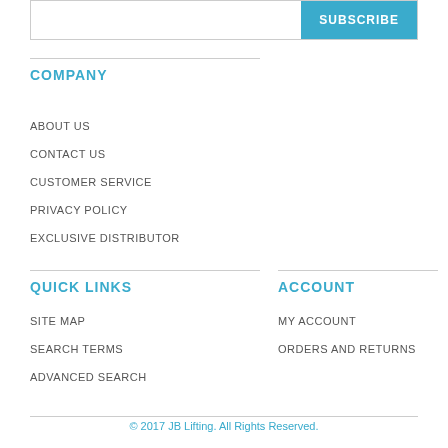SUBSCRIBE
COMPANY
ABOUT US
CONTACT US
CUSTOMER SERVICE
PRIVACY POLICY
EXCLUSIVE DISTRIBUTOR
QUICK LINKS
SITE MAP
SEARCH TERMS
ADVANCED SEARCH
ACCOUNT
MY ACCOUNT
ORDERS AND RETURNS
© 2017 JB Lifting. All Rights Reserved.